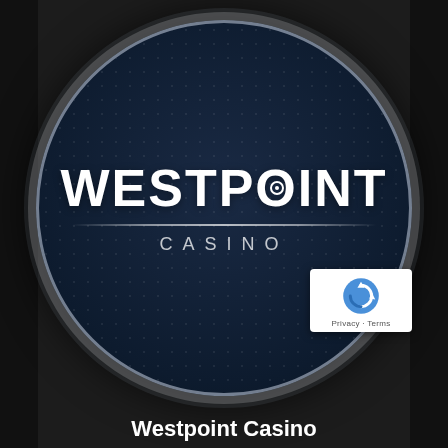[Figure (logo): Westpoint Casino circular logo: dark navy blue circle with dot texture pattern, white bold text 'WESTPOINT' with a circle-O design in the letter O, a horizontal divider line, and 'CASINO' in spaced uppercase letters below. Surrounded by a silver/white border ring.]
[Figure (other): Google reCAPTCHA badge in bottom-right corner showing the reCAPTCHA logo (blue circle with arrows) and 'Privacy · Terms' text]
Westpoint Casino